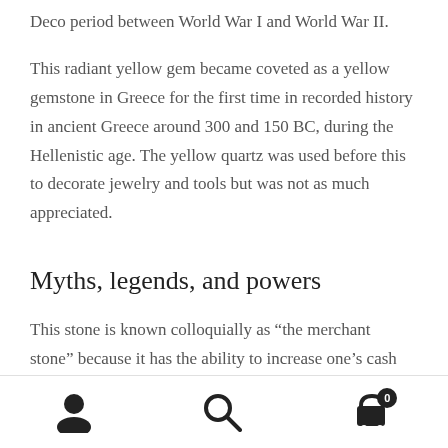Deco period between World War I and World War II.
This radiant yellow gem became coveted as a yellow gemstone in Greece for the first time in recorded history in ancient Greece around 300 and 150 BC, during the Hellenistic age. The yellow quartz was used before this to decorate jewelry and tools but was not as much appreciated.
Myths, legends, and powers
This stone is known colloquially as “the merchant stone” because it has the ability to increase one’s cash flow and safeguard against an uneven outflow or bad investment.
user icon | search icon | cart icon with badge 0